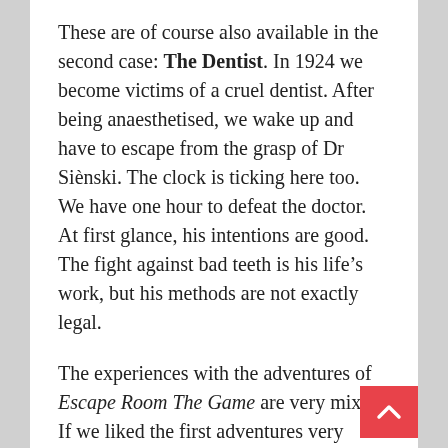These are of course also available in the second case: The Dentist. In 1924 we become victims of a cruel dentist. After being anaesthetised, we wake up and have to escape from the grasp of Dr Sienski. The clock is ticking here too. We have one hour to defeat the doctor. At first glance, his intentions are good. The fight against bad teeth is his life's work, but his methods are not exactly legal.
The experiences with the adventures of Escape Room The Game are very mixed. If we liked the first adventures very much, they were very much reduced in the expansions and didn't seem as vivid as in the beginning. The hope is